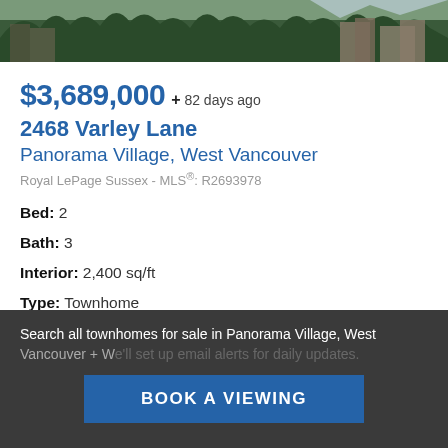[Figure (photo): Aerial/exterior photo of townhome buildings surrounded by trees and mountains in West Vancouver]
$3,689,000 + 82 days ago
2468 Varley Lane
Panorama Village, West Vancouver
Royal LePage Sussex - MLS®: R2693978
Bed: 2
Bath: 3
Interior: 2,400 sq/ft
Type: Townhome
Search all townhomes for sale in Panorama Village, West Vancouver + We'll set up email alerts for daily updates.
BOOK A VIEWING